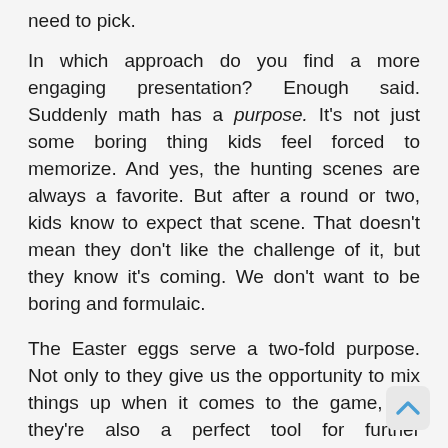need to pick.
In which approach do you find a more engaging presentation? Enough said. Suddenly math has a purpose. It's not just some boring thing kids feel forced to memorize. And yes, the hunting scenes are always a favorite. But after a round or two, kids know to expect that scene. That doesn't mean they don't like the challenge of it, but they know it's coming. We don't want to be boring and formulaic.
The Easter eggs serve a two-fold purpose. Not only to they give us the opportunity to mix things up when it comes to the game, but they're also a perfect tool for further incorporating the elements of Native American culture that we're committed to portraying.
From the Dakota concept of family to the traditional practice of counting coup to the Sioux's belief in the afterlife, we're able to incorporate these brief lessons into our game in a way that further engages our users. We're also working to